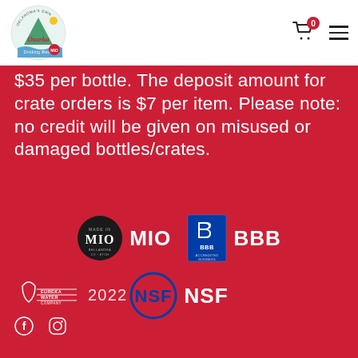Ozarka Drinking Water — navigation header with logo, cart icon (0), and hamburger menu
$35 per bottle. The deposit amount for crate orders is $7 per item. Please note: no credit will be given on misused or damaged bottles/crates.
[Figure (logo): MIO (Made in Bellandra Co•Etch) circular black badge logo with label 'MIO', and BBB Accredited Business blue badge logo with label 'BBB']
[Figure (logo): NSF circular blue outline certification badge logo with label 'NSF']
Eureka Water Company 2022  — Facebook and Instagram social icons